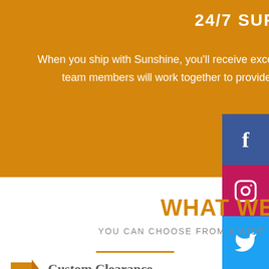24/7 SUPPORT
When you ship with Sunshine, you'll receive excellent service from a dedicated Team. These team members will work together to provide you with a personalized, 24/7 service.
WHAT WE OFFER
YOU CAN CHOOSE FROM A WIDE RANGE OF OUR SHIPPING SERVICES.
Custom Clearance